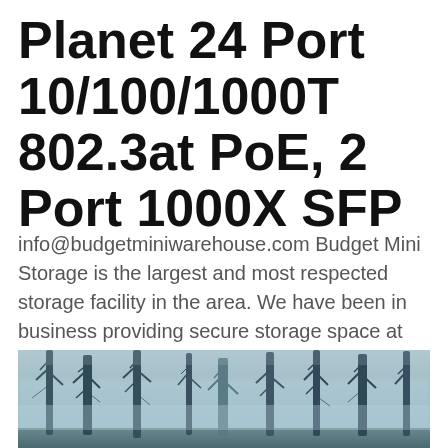Planet 24 Port 10/100/1000T 802.3at PoE, 2 Port 1000X SFP
info@budgetminiwarehouse.com Budget Mini Storage is the largest and most respected storage facility in the area. We have been in business providing secure storage space at an affordable price to our customers since 2005.
[Figure (photo): Misty forest with tall bare trees in foggy blue-grey light]